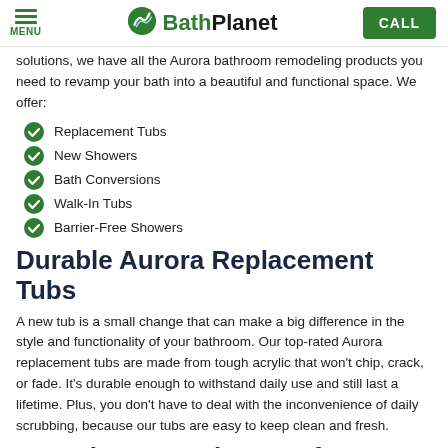MENU | BathPlanet | CALL
solutions, we have all the Aurora bathroom remodeling products you need to revamp your bath into a beautiful and functional space. We offer:
Replacement Tubs
New Showers
Bath Conversions
Walk-In Tubs
Barrier-Free Showers
Durable Aurora Replacement Tubs
A new tub is a small change that can make a big difference in the style and functionality of your bathroom. Our top-rated Aurora replacement tubs are made from tough acrylic that won't chip, crack, or fade. It's durable enough to withstand daily use and still last a lifetime. Plus, you don't have to deal with the inconvenience of daily scrubbing, because our tubs are easy to keep clean and fresh.
Stunning New Showers for Any